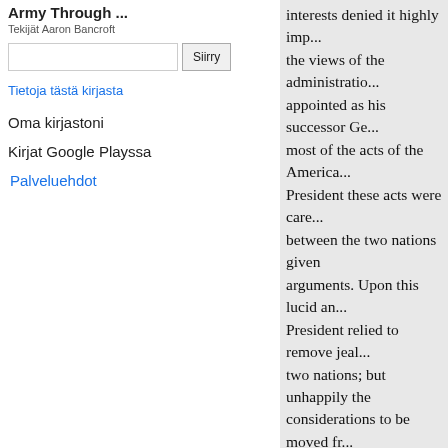Army Through ...
Tekijät Aaron Bancroft
Tietoja tästä kirjasta
Oma kirjastoni
Kirjat Google Playssa
Palveluehdot
interests denied it highly imp... the views of the administration appointed as his successor Ge... most of the acts of the America... President these acts were caref... between the two nations given arguments. Upon this lucid and President relied to remove jeal... two nations; but unhappily the considerations to be moved fro... to recede. At the near approach of the Washington had not lost his ho... sentiment every where indicat... confidence could not be place... satisfactorily ascertained, that time be unanimously chosen P... In this state of the public mi... " Friends and Fellow Citize... Executive Government of the actually arrived when your tho... clothed with that important tr...